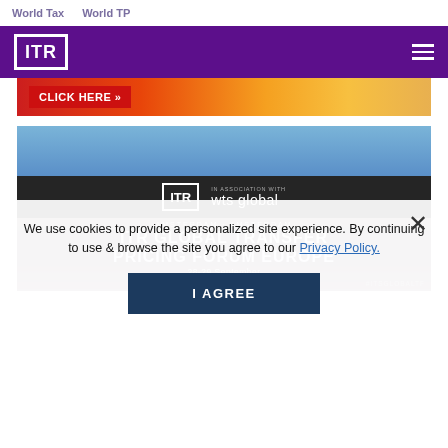World Tax   World TP
[Figure (logo): ITR logo in white on purple header with hamburger menu]
[Figure (screenshot): CLICK HERE >> banner advertisement with orange/red gradient background]
[Figure (screenshot): ITR Global Transfer Pricing Forum Europe 28-29 September, Leonardo Amsterdam, ITR in association with wts global banner]
We use cookies to provide a personalized site experience. By continuing to use & browse the site you agree to our Privacy Policy.
I AGREE